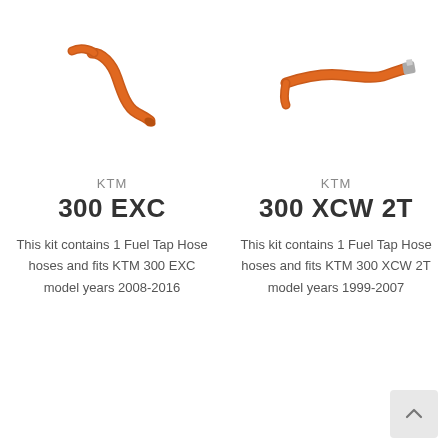[Figure (photo): Orange KTM fuel tap hose, curved S-shape, left product image]
[Figure (photo): Orange KTM fuel tap hose, shorter curved shape, right product image]
KTM
300 EXC
This kit contains 1 Fuel Tap Hose hoses and fits KTM 300 EXC model years 2008-2016
KTM
300 XCW 2T
This kit contains 1 Fuel Tap Hose hoses and fits KTM 300 XCW 2T model years 1999-2007